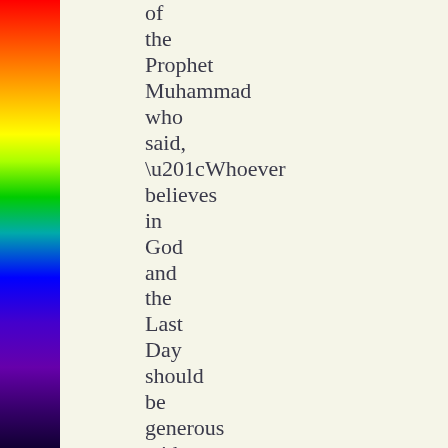of the Prophet Muhammad who said, “Whoever believes in God and the Last Day should be generous with his neighbor.”* This tell us that